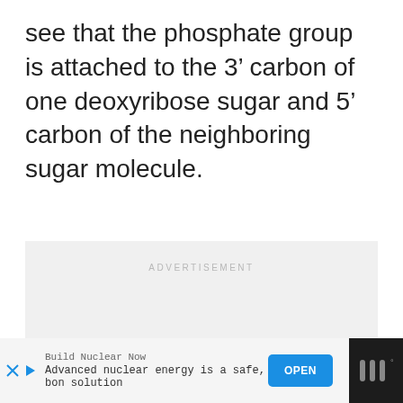see that the phosphate group is attached to the 3’ carbon of one deoxyribose sugar and 5’ carbon of the neighboring sugar molecule.
[Figure (other): Advertisement placeholder box with light gray background and 'ADVERTISEMENT' label at top center, with three small dots near the middle-lower area.]
Build Nuclear Now  Advanced nuclear energy is a safe, zero-carbon solution  OPEN